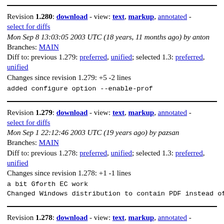Revision 1.280: download - view: text, markup, annotated - select for diffs
Mon Sep 8 13:03:05 2003 UTC (18 years, 11 months ago) by anton
Branches: MAIN
Diff to: previous 1.279: preferred, unified; selected 1.3: preferred, unified
Changes since revision 1.279: +5 -2 lines
added configure option --enable-prof
Revision 1.279: download - view: text, markup, annotated - select for diffs
Mon Sep 1 22:12:46 2003 UTC (19 years ago) by pazsan
Branches: MAIN
Diff to: previous 1.278: preferred, unified; selected 1.3: preferred, unified
Changes since revision 1.278: +1 -1 lines
a bit Gforth EC work
Changed Windows distribution to contain PDF instead of Po
Revision 1.278: download - view: text, markup, annotated - select for diffs